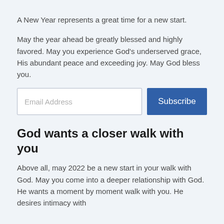A New Year represents a great time for a new start.
May the year ahead be greatly blessed and highly favored. May you experience God's underserved grace, His abundant peace and exceeding joy. May God bless you.
[Figure (other): Email address input field with placeholder text 'Email Address' and a blue Subscribe button]
God wants a closer walk with you
Above all, may 2022 be a new start in your walk with God. May you come into a deeper relationship with God. He wants a moment by moment walk with you. He desires intimacy with